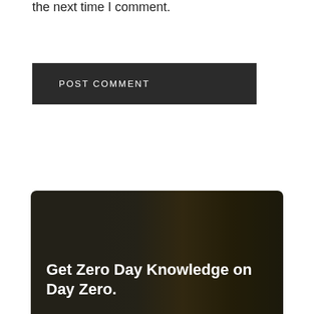the next time I comment.
POST COMMENT
[Figure (photo): Dark landscape photo with rocky/watery textures, used as card header background]
Get Zero Day Knowledge on Day Zero.
Yes! I want Zero Day Knowledge, tutorials, shells, and news!
Your email address